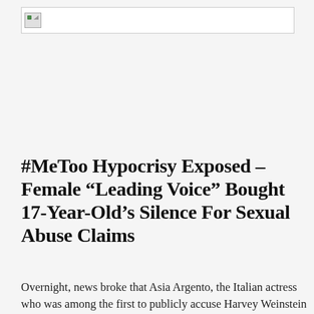[Figure (photo): Broken image placeholder icon in top-left area]
#MeToo Hypocrisy Exposed – Female “Leading Voice” Bought 17-Year-Old’s Silence For Sexual Abuse Claims
Overnight, news broke that Asia Argento, the Italian actress who was among the first to publicly accuse Harvey Weinstein of...